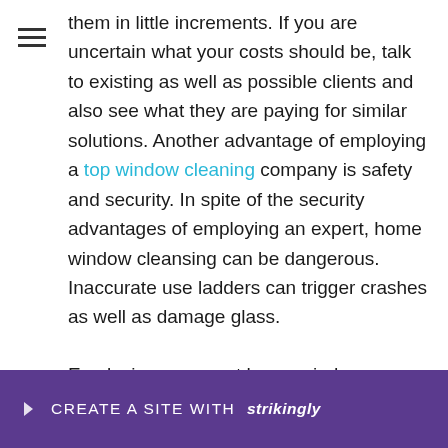them in little increments. If you are uncertain what your costs should be, talk to existing as well as possible clients and also see what they are paying for similar solutions. Another advantage of employing a top window cleaning company is safety and security. In spite of the security advantages of employing an expert, home window cleansing can be dangerous. Inaccurate use ladders can trigger crashes as well as damage glass.

Employing an expert home window cleaner will certainly make sure that you get an extensive clea[banner overlay]ors. And [banner overlay]in
[Figure (other): Purple banner overlay at bottom of page reading 'CREATE A SITE WITH strikingly' with a downward arrow icon on left]